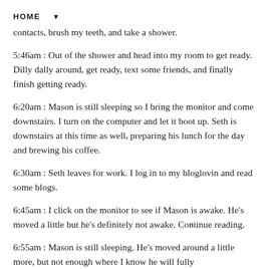HOME ▼
contacts, brush my teeth, and take a shower.
5:46am : Out of the shower and head into my room to get ready. Dilly dally around, get ready, text some friends, and finally finish getting ready.
6:20am : Mason is still sleeping so I bring the monitor and come downstairs. I turn on the computer and let it boot up. Seth is downstairs at this time as well, preparing his lunch for the day and brewing his coffee.
6:30am : Seth leaves for work. I log in to my bloglovin and read some blogs.
6:45am : I click on the monitor to see if Mason is awake. He's moved a little but he's definitely not awake. Continue reading.
6:55am : Mason is still sleeping. He's moved around a little more, but not enough where I know he will fully